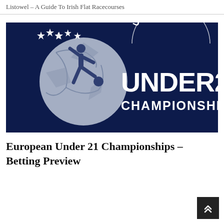Listowel – A Guide To Irish Flat Racecourses
[Figure (photo): UEFA Under 21 Championship logo banner on dark navy blue background, showing a footballer silhouette kicking a ball with stars, and the text 'UEFA UNDER21 CHAMPIONSHIP']
European Under 21 Championships – Betting Preview